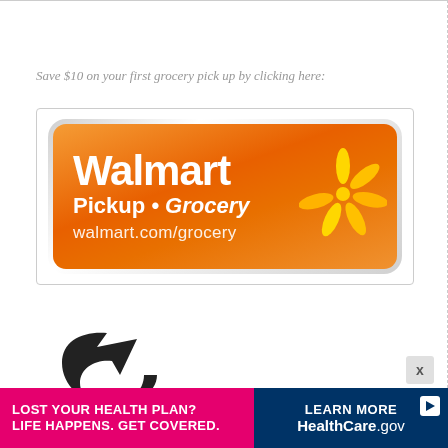Save $10 on your first grocery pick up by clicking here:
[Figure (logo): Walmart Pickup Grocery logo on orange rounded rectangle background with spark/sunburst icon. Text reads: Walmart, Pickup • Grocery, walmart.com/grocery]
[Figure (logo): Partial circular arrow icon in black at bottom of page]
[Figure (infographic): Advertisement banner: Left side magenta/pink with text LOST YOUR HEALTH PLAN? LIFE HAPPENS. GET COVERED. Right side dark blue with LEARN MORE button and HealthCare.gov branding with play icon]